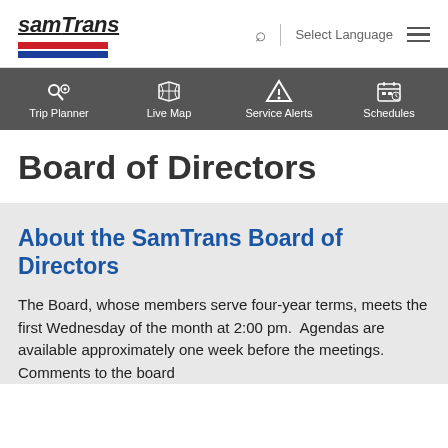[Figure (logo): SamTrans logo with red and blue horizontal bars beneath the stylized text 'samTrans']
Search | Select Language | Menu
[Figure (infographic): Navigation bar with four icons and labels: Trip Planner, Live Map, Service Alerts, Schedules — on a dark grey background]
Board of Directors
About the SamTrans Board of Directors
The Board, whose members serve four-year terms, meets the first Wednesday of the month at 2:00 pm.  Agendas are available approximately one week before the meetings.  Comments to the board